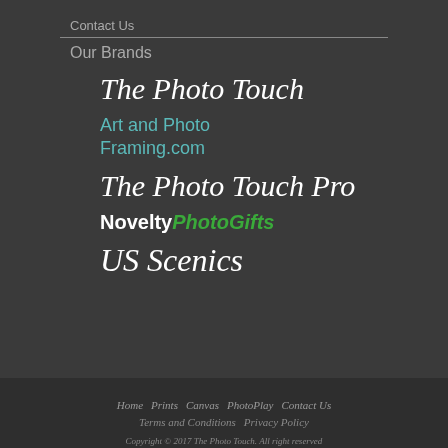Contact Us
Our Brands
[Figure (logo): The Photo Touch script logo in white italic cursive]
[Figure (logo): Art and Photo Framing.com in teal/cyan text]
[Figure (logo): The Photo Touch Pro script logo in white italic cursive]
[Figure (logo): NnoveltyPhotoGifts logo with Novelty in white bold and PhotoGifts in green italic]
[Figure (logo): US Scenics script logo in white italic cursive]
Home   Prints   Canvas   PhotoPlay   Contact Us
Terms and Conditions   Privacy Policy
Copyright © 2017 The Photo Touch. All right reserved